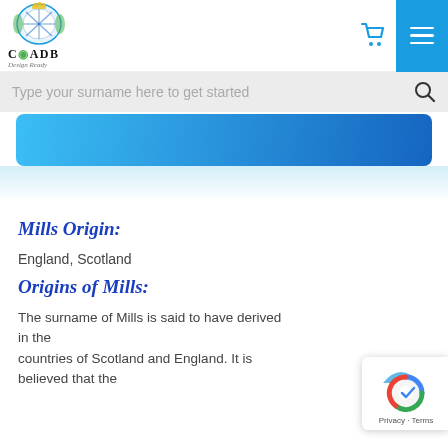[Figure (logo): CIADB heraldic crest logo with coat of arms and text 'CIADB' and 'Design Ready']
[Figure (screenshot): Search input bar with placeholder text 'Type your surname here to get started' and a search icon]
[Figure (other): Blue gradient button/banner element]
Mills Origin:
England, Scotland
Origins of Mills:
The surname of Mills is said to have derived in the countries of Scotland and England. It is believed that the